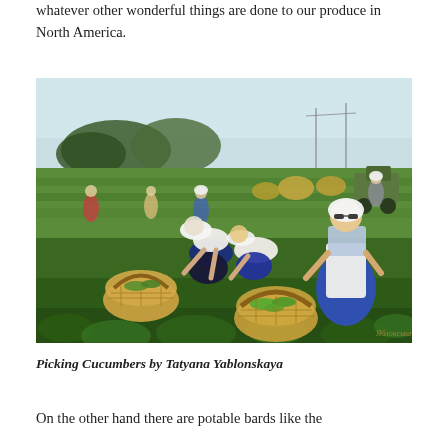whatever other wonderful things are done to our produce in North America.
[Figure (illustration): Oil painting titled 'Picking Cucumbers by Tatyana Yablonskaya'. Shows women in headscarves and aprons picking cucumbers in a field. Foreground figures are bent over and standing, with wicker baskets filled with cucumbers. Background shows more workers, haystacks, a tractor, trees, and a pale sky.]
Picking Cucumbers by Tatyana Yablonskaya
On the other hand there are potable bards like the